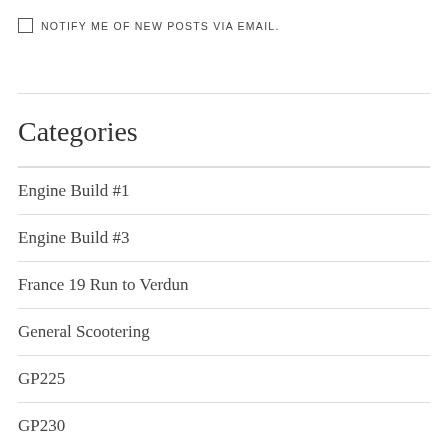NOTIFY ME OF NEW POSTS VIA EMAIL.
Categories
Engine Build #1
Engine Build #3
France 19 Run to Verdun
General Scootering
GP225
GP230
Innovations & Ideas
LJ150